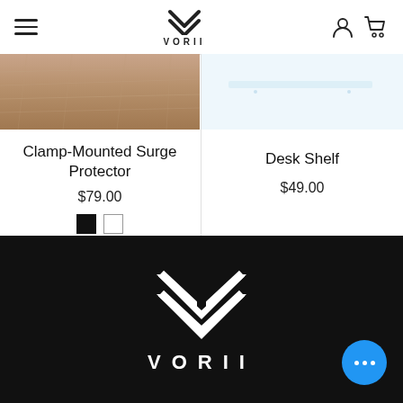VORII navigation header
[Figure (screenshot): Clamp-Mounted Surge Protector product image - wood grain texture]
Clamp-Mounted Surge Protector
$79.00
[Figure (screenshot): Desk Shelf product image - light blue background]
Desk Shelf
$49.00
[Figure (logo): VORII logo white on black background with chevron mark]